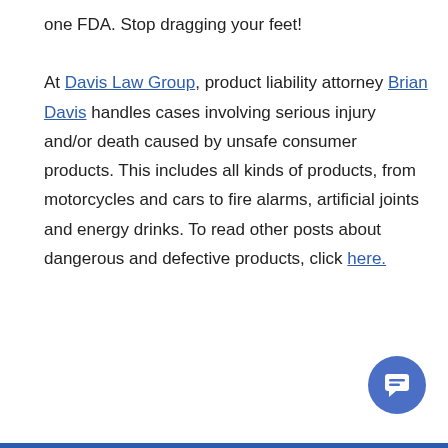one FDA. Stop dragging your feet!

At Davis Law Group, product liability attorney Brian Davis handles cases involving serious injury and/or death caused by unsafe consumer products. This includes all kinds of products, from motorcycles and cars to fire alarms, artificial joints and energy drinks. To read other posts about dangerous and defective products, click here.
[Figure (other): Blue circular chat button icon with a message/chat bubble icon in white, positioned in the bottom-right corner of the page.]